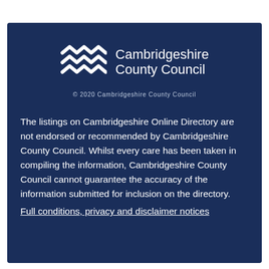[Figure (logo): Cambridgeshire County Council logo with wave/zigzag symbol in white and text 'Cambridgeshire County Council' in white on dark navy background]
© 2020 Cambridgeshire County Council
The listings on Cambridgeshire Online Directory are not endorsed or recommended by Cambridgeshire County Council. Whilst every care has been taken in compiling the information, Cambridgeshire County Council cannot guarantee the accuracy of the information submitted for inclusion on the directory.
Full conditions, privacy and disclaimer notices